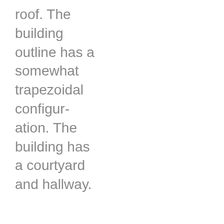roof. The building outline has a somewhat trapezoidal configuration. The building has a courtyard and hallway.